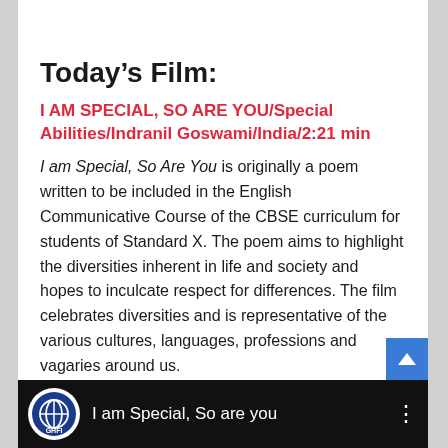Today’s Film:
I AM SPECIAL, SO ARE YOU/Special Abilities/Indranil Goswami/India/2:21 min
I am Special, So Are You is originally a poem written to be included in the English Communicative Course of the CBSE curriculum for students of Standard X. The poem aims to highlight the diversities inherent in life and society and hopes to inculcate respect for differences. The film celebrates diversities and is representative of the various cultures, languages, professions and vagaries around us.
[Figure (screenshot): Video player bar showing a logo circle with a globe/network icon labeled GHFI, and white text 'I am Special, So are you' with a vertical dots menu on a black background]